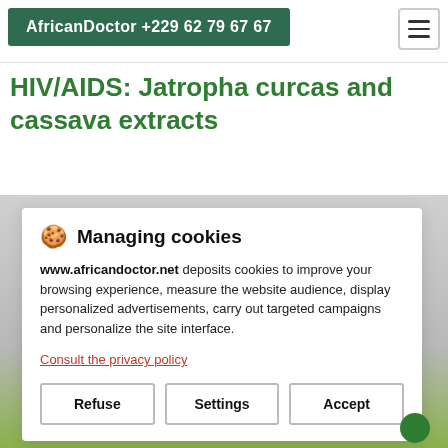AfricanDoctor +229 62 79 67 67
HIV/AIDS: Jatropha curcas and cassava extracts
[Figure (screenshot): Cookie consent modal dialog over a webpage background showing a partial product image below. The modal contains a cookie icon, 'Managing cookies' heading, privacy text, a privacy policy link, and three buttons: Refuse, Settings, Accept.]